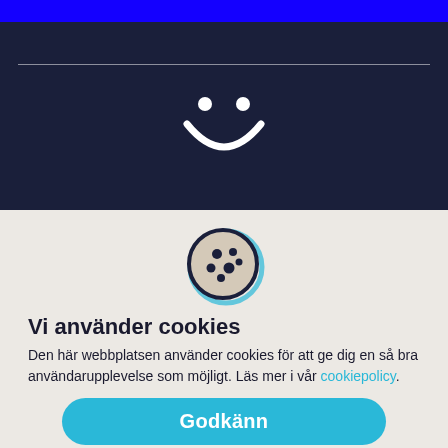[Figure (illustration): Blue horizontal bar at top of page]
[Figure (illustration): Dark navy background section with a thin white horizontal line and a white smiley face icon (two dots as eyes and a curved arc as smile)]
[Figure (illustration): Cookie icon: a round cookie with dark spots drawn with teal/navy outline strokes on light beige background]
Vi använder cookies
Den här webbplatsen använder cookies för att ge dig en så bra användarupplevelse som möjligt. Läs mer i vår cookiepolicy.
Godkänn